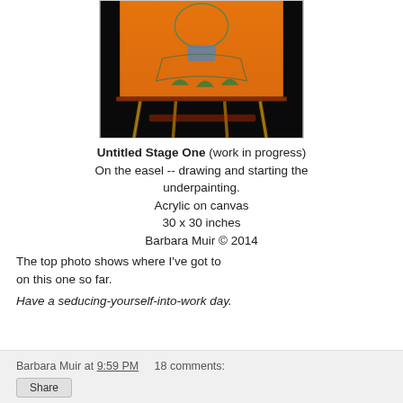[Figure (photo): A painting on an easel showing a figure with an orange background, blue/teal neck area, and green leaf elements near the bottom. The canvas is on a wooden easel with dark surroundings.]
Untitled Stage One (work in progress)
On the easel -- drawing and starting the underpainting.
Acrylic on canvas
30 x 30 inches
Barbara Muir © 2014
The top photo shows where I've got to on this one so far.
Have a seducing-yourself-into-work day.
Barbara Muir at 9:59 PM   18 comments:
Share